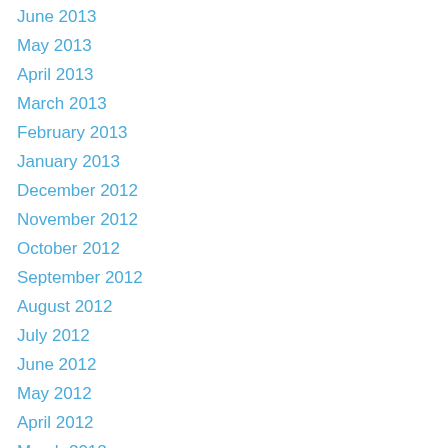June 2013
May 2013
April 2013
March 2013
February 2013
January 2013
December 2012
November 2012
October 2012
September 2012
August 2012
July 2012
June 2012
May 2012
April 2012
March 2012
February 2012
January 2012
November 2011
October 2011